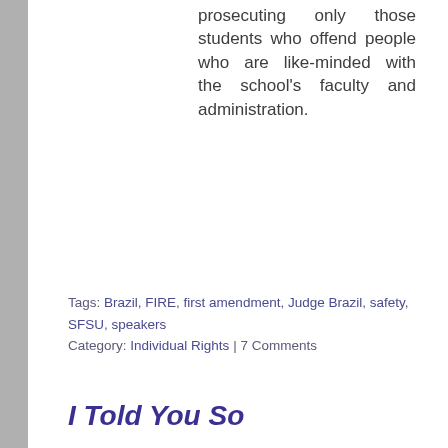prosecuting only those students who offend people who are like-minded with the school's faculty and administration.
Tags: Brazil, FIRE, first amendment, Judge Brazil, safety, SFSU, speakers Category: Individual Rights | 7 Comments
I Told You So